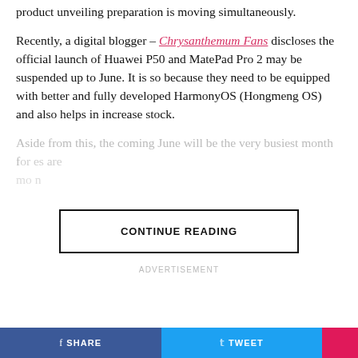product unveiling preparation is moving simultaneously.
Recently, a digital blogger – Chrysanthemum Fans discloses the official launch of Huawei P50 and MatePad Pro 2 may be suspended up to June. It is so because they need to be equipped with better and fully developed HarmonyOS (Hongmeng OS) and also helps in increase stock.
Aside from this, the coming June will be the very busiest month for... companies are moving in...
CONTINUE READING
ADVERTISEMENT
SHARE   TWEET